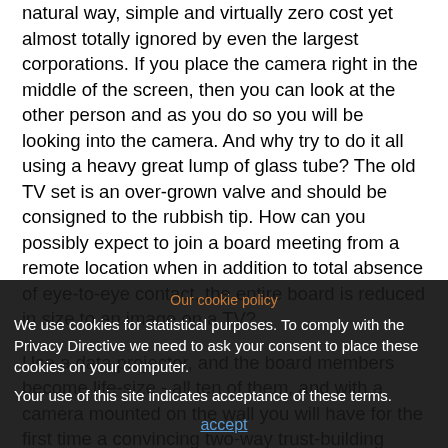natural way, simple and virtually zero cost yet almost totally ignored by even the largest corporations. If you place the camera right in the middle of the screen, then you can look at the other person and as you do so you will be looking into the camera. And why try to do it all using a heavy great lump of glass tube? The old TV set is an over-grown valve and should be consigned to the rubbish tip. How can you possibly expect to join a board meeting from a remote location when in addition to total absence of eye-to-eye contact, the entire board is reduced in size to an image on a TV?
Use a data projector, and the board members become life-size - all ten of them, and with a camera mounted on the wall you will have for the first time a convincing two-way trust-building meeting.
So then, attend to the basics and the fundamentals of human life when installing technology and you will transform your organisation with minimum cost.
So technology is here to stay and is part of everyday day life. The best solution is to have your own team members campaigning for earlier introduction and better access.
Let people make their own choices. For example, what's the
Our cookie policy
We use cookies for statistical purposes. To comply with the Privacy Directive we need to ask your consent to place these cookies on your computer.
Your use of this site indicates acceptance of these terms.
accept